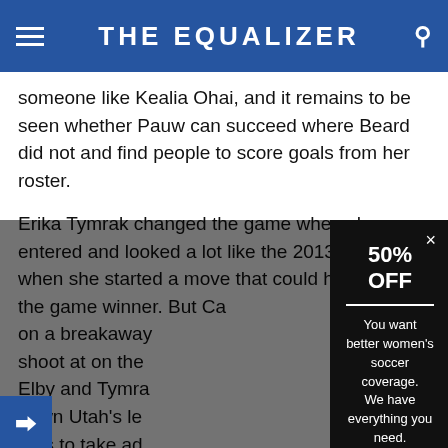THE EQUALIZER
someone like Kealia Ohai, and it remains to be seen whether Pauw can succeed where Beard did not and find people to score goals from her roster.
Erika Tymrak changed the game when she entered and looked a lot like the 2013 version when she started a move that could have been the game winner. But Can on a breakaway shoot at on the Elby and Tymra down Utah's lef tries to take ad yes, Desiree Sco d for this tac
[Figure (screenshot): Modal popup advertisement with dark background. Heading '50% OFF', divider line, text 'You want better women's soccer coverage. We have everything you need.', and button 'GET HALF OFF']